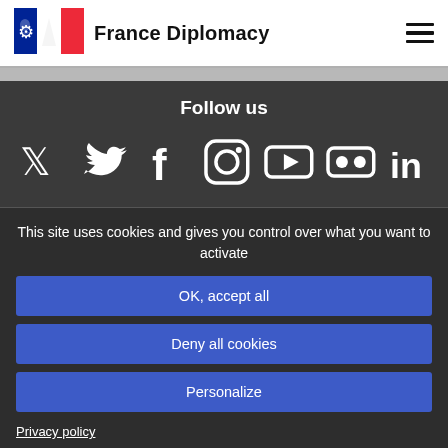France Diplomacy
[Figure (logo): France Diplomacy logo with French flag tricolor and Marianne emblem]
Follow us
[Figure (infographic): Social media icons: Twitter, Facebook, Instagram, YouTube, Flickr, LinkedIn]
This site uses cookies and gives you control over what you want to activate
OK, accept all
Deny all cookies
Personalize
Privacy policy